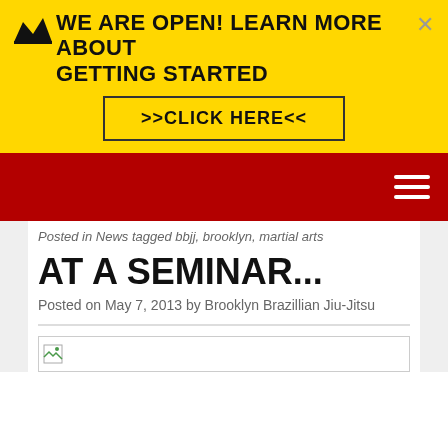WE ARE OPEN! LEARN MORE ABOUT GETTING STARTED >>CLICK HERE<<
Posted in News tagged bbjj, brooklyn, martial arts
AT A SEMINAR...
Posted on May 7, 2013 by Brooklyn Brazillian Jiu-Jitsu
[Figure (photo): Broken image placeholder]